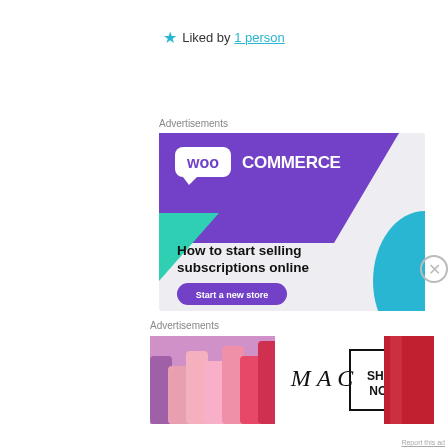★ Liked by 1 person
Advertisements
[Figure (illustration): WooCommerce advertisement banner. Purple diagonal header with WooCommerce logo (speech bubble with 'woo' and 'COMMERCE' text). Teal triangle on the left, blue curved blob on the right. Text reads 'How to start selling subscriptions online' with a purple 'Start a new store' button.]
Advertisements
[Figure (illustration): MAC Cosmetics advertisement. Left side shows colorful lipsticks (purple, pink, coral, red). Center shows MAC logo in italic serif font. Right box outlined in black reads 'SHOP NOW'. Far right side shows a red lipstick.]